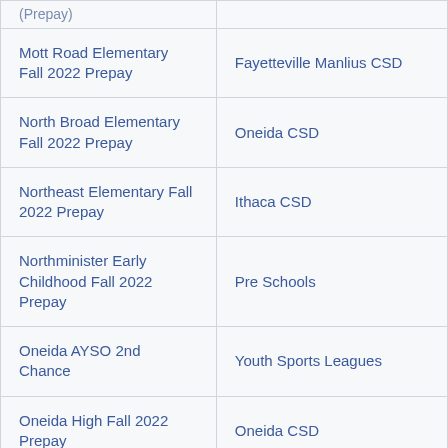| Program Name | Organization |
| --- | --- |
| Mott Road Elementary Fall 2022 Prepay | Fayetteville Manlius CSD |
| North Broad Elementary Fall 2022 Prepay | Oneida CSD |
| Northeast Elementary Fall 2022 Prepay | Ithaca CSD |
| Northminister Early Childhood Fall 2022 Prepay | Pre Schools |
| Oneida AYSO 2nd Chance | Youth Sports Leagues |
| Oneida High Fall 2022 Prepay | Oneida CSD |
| Onondaga Nation | Onondaga CSD |